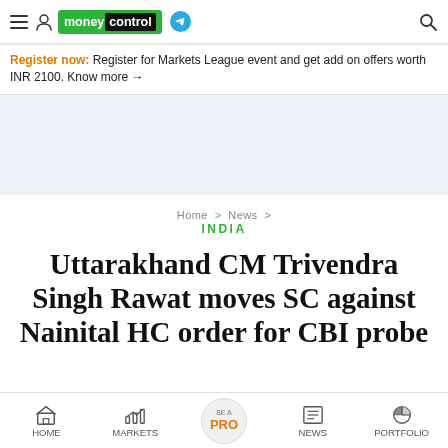moneycontrol
Register now: Register for Markets League event and get add on offers worth INR 2100. Know more →
[Figure (other): Advertisement banner area (light blue/gray background)]
Home > News > INDIA
Uttarakhand CM Trivendra Singh Rawat moves SC against Nainital HC order for CBI probe
HOME   MARKETS   BE A PRO   NEWS   PORTFOLIO